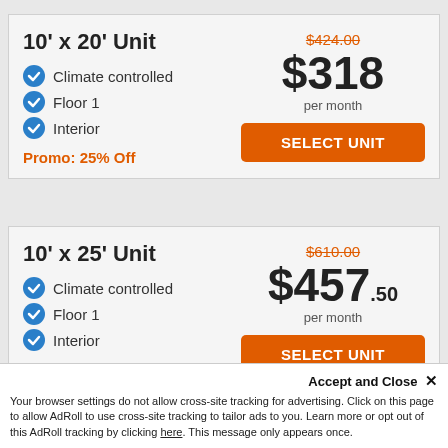10' x 20' Unit
Climate controlled
Floor 1
Interior
Promo: 25% Off
$424.00 (strikethrough), $318 per month
SELECT UNIT
10' x 25' Unit
Climate controlled
Floor 1
Interior
Promo: 25% Off
$610.00 (strikethrough), $457.50 per month
SELECT UNIT
Accept and Close ×
Your browser settings do not allow cross-site tracking for advertising. Click on this page to allow AdRoll to use cross-site tracking to tailor ads to you. Learn more or opt out of this AdRoll tracking by clicking here. This message only appears once.